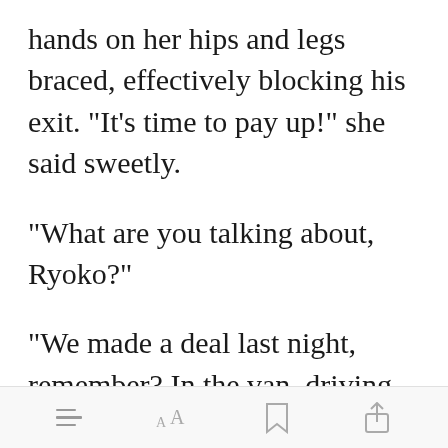hands on her hips and legs braced, effectively blocking his exit. "It's time to pay up!" she said sweetly.
"What are you talking about, Ryoko?"
"We made a deal last night, remember? In the van, driving back from your graduation ceremony? I remained completely silent until we
[toolbar icons: list, AA, bookmark, share]